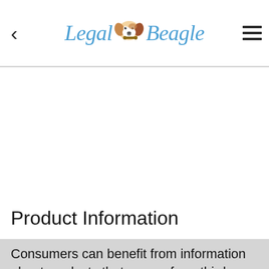Legal Beagle – navigation header with back arrow and hamburger menu
[Figure (other): Advertisement / blank white area placeholder]
Product Information
Consumers can benefit from information about products that comes from third parties unrelated to